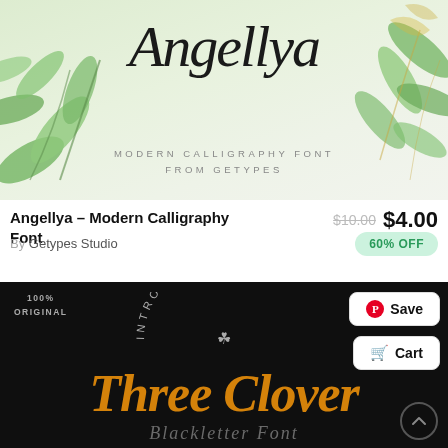[Figure (illustration): Decorative banner image showing 'Angellya' in large italic script with 'MODERN CALLIGRAPHY FONT FROM GETYPES' subtitle, surrounded by watercolor green leaves on a light background]
Angellya – Modern Calligraphy Font
$10.00 $4.00
By Getypes Studio
60% OFF
[Figure (illustration): Dark black background card introducing 'Three Clover' font with orange blackletter style text. Shows '100% ORIGINAL' badge top left, 'INTRODUCING' arched text with clover icon in center top, large orange 'Three Clover' text, and partial 'Blackletter Font' subtitle at bottom]
Save
Cart